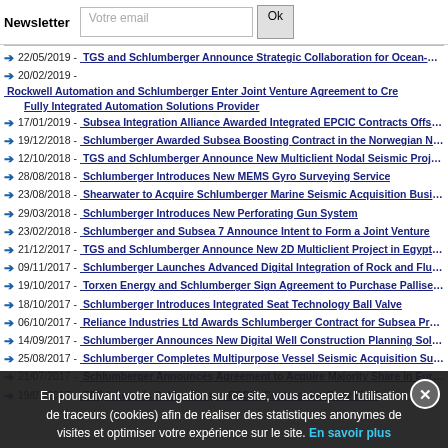Newsletter | Votre email | Ok
22/05/2019 - TGS and Schlumberger Announce Strategic Collaboration for Ocean-Bottom N...
20/02/2019 - Rockwell Automation and Schlumberger Enter Joint Venture Agreement to Cre... Fully Integrated Automation Solutions Provider
17/01/2019 - Subsea Integration Alliance Awarded Integrated EPCIC Contracts Offshore Au...
19/12/2018 - Schlumberger Awarded Subsea Boosting Contract in the Norwegian North Sea P...
12/10/2018 - TGS and Schlumberger Announce New Multiclient Nodal Seismic Project in US...
28/08/2018 - Schlumberger Introduces New MEMS Gyro Surveying Service
23/08/2018 - Shearwater to Acquire Schlumberger Marine Seismic Acquisition Business
29/03/2018 - Schlumberger Introduces New Perforating Gun System
23/02/2018 - Schlumberger and Subsea 7 Announce Intent to Form a Joint Venture
21/12/2017 - TGS and Schlumberger Announce New 2D Multiclient Project in Egyptian Red...
09/11/2017 - Schlumberger Launches Advanced Digital Integration of Rock and Fluid Analys...
19/10/2017 - Torxen Energy and Schlumberger Sign Agreement to Purchase Palliser Block i...
18/10/2017 - Schlumberger Introduces Integrated Seat Technology Ball Valve
06/10/2017 - Reliance Industries Ltd Awards Schlumberger Contract for Subsea Production...
14/09/2017 - Schlumberger Announces New Digital Well Construction Planning Solution on t...
25/08/2017 - Schlumberger Completes Multipurpose Vessel Seismic Acquisition Survey for R...
21/07/2017 - Schlumberger Announces Agreement to Acquire Majority Share in Eurasia Dril...
19/07/2017 - TAQA Awards Schlumberger EPCIC Contract for Otter Field
En poursuivant votre navigation sur ce site, vous acceptez l'utilisation de traceurs (cookies) afin de réaliser des statistiques anonymes de visites et optimiser votre expérience sur le site. En savoir plus